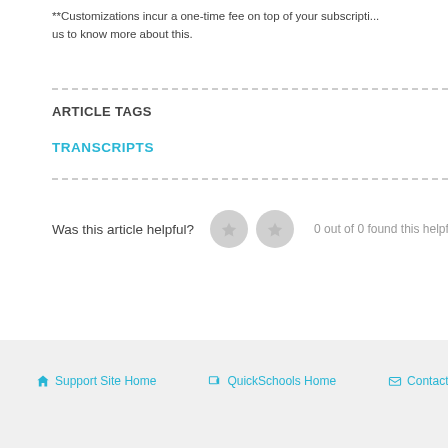**Customizations incur a one-time fee on top of your subscription. Contact us to know more about this.
ARTICLE TAGS
TRANSCRIPTS
Was this article helpful?   0 out of 0 found this helpful
Support Site Home   QuickSchools Home   Contact